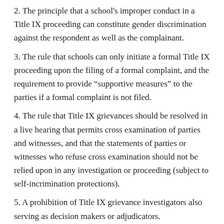2. The principle that a school's improper conduct in a Title IX proceeding can constitute gender discrimination against the respondent as well as the complainant.
3. The rule that schools can only initiate a formal Title IX proceeding upon the filing of a formal complaint, and the requirement to provide “supportive measures” to the parties if a formal complaint is not filed.
4. The rule that Title IX grievances should be resolved in a live hearing that permits cross examination of parties and witnesses, and that the statements of parties or witnesses who refuse cross examination should not be relied upon in any investigation or proceeding (subject to self-incrimination protections).
5. A prohibition of Title IX grievance investigators also serving as decision makers or adjudicators.
Hamill released a separate statement that highlights her